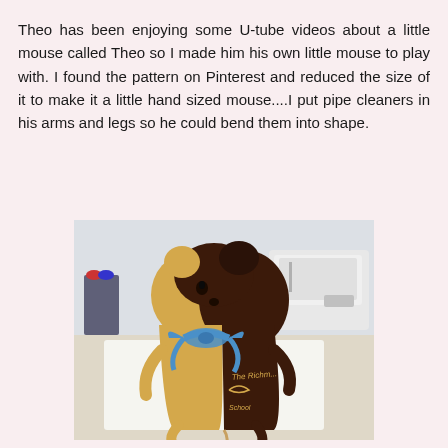Theo has been enjoying some U-tube videos about a little mouse called Theo so I made him his own little mouse to play with. I found the pattern on Pinterest and reduced the size of it to make it a little hand sized mouse....I put pipe cleaners in his arms and legs so he could bend them into shape.
[Figure (photo): A stuffed toy mouse/bear made from tan and dark brown fabric, wearing a blue ribbon bow tie. The dark brown side has an embroidered logo reading 'The Richmond School'. The toy is photographed on a crafting table with sewing supplies and a sewing machine visible in the background.]